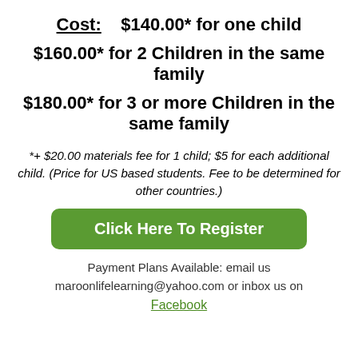Cost:    $140.00* for one child
$160.00* for 2 Children in the same family
$180.00* for 3 or more Children in the same family
*+ $20.00 materials fee for 1 child; $5 for each additional child. (Price for US based students. Fee to be determined for other countries.)
Click Here To Register
Payment Plans Available: email us maroonlifelearning@yahoo.com or inbox us on Facebook